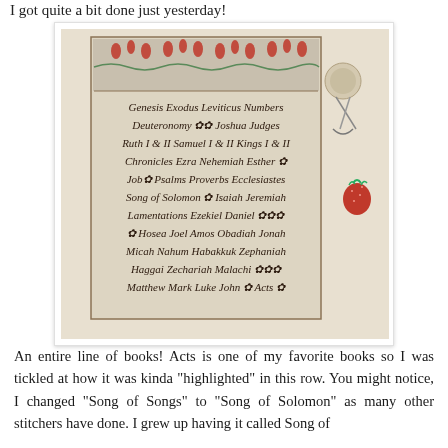I got quite a bit done just yesterday!
[Figure (photo): Cross-stitch sampler showing Old Testament and New Testament Bible book names in decorative needlework script, with a decorative floral border at top. A button, scissors, and a strawberry scissor fob are visible beside the fabric.]
An entire line of books! Acts is one of my favorite books so I was tickled at how it was kinda "highlighted" in this row. You might notice, I changed "Song of Songs" to "Song of Solomon" as many other stitchers have done. I grew up having it called Song of